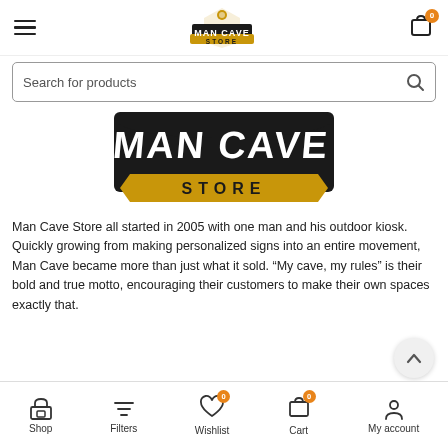[Figure (screenshot): Man Cave Store website screenshot showing mobile navigation header with hamburger menu, Man Cave Store logo, and cart icon with badge '0']
[Figure (screenshot): Search bar with placeholder text 'Search for products' and magnifying glass icon]
[Figure (logo): Large Man Cave Store logo banner with bold text 'MAN CAVE' and 'STORE' on a golden ribbon, black background]
Man Cave Store all started in 2005 with one man and his outdoor kiosk. Quickly growing from making personalized signs into an entire movement, Man Cave became more than just what it sold. “My cave, my rules” is their bold and true motto, encouraging their customers to make their own spaces exactly that.
[Figure (screenshot): Bottom navigation bar with icons for Shop, Filters, Wishlist (badge 0), Cart (badge 0), and My account]